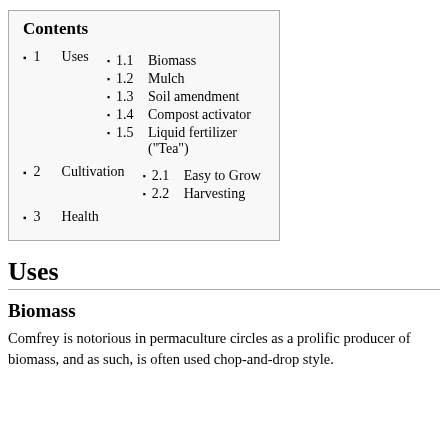| 1 | Uses |
| 1.1 | Biomass |
| 1.2 | Mulch |
| 1.3 | Soil amendment |
| 1.4 | Compost activator |
| 1.5 | Liquid fertilizer ("Tea") |
| 2 | Cultivation |
| 2.1 | Easy to Grow |
| 2.2 | Harvesting |
| 3 | Health |
Uses
Biomass
Comfrey is notorious in permaculture circles as a prolific producer of biomass, and as such, is often used chop-and-drop style.